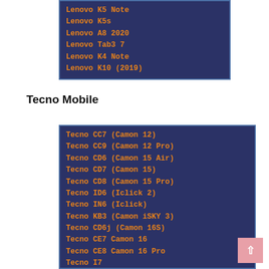Lenovo K5 Note
Lenovo K5s
Lenovo A8 2020
Lenovo Tab3 7
Lenovo K4 Note
Lenovo K10 (2019)
Tecno Mobile
Tecno CC7 (Camon 12)
Tecno CC9 (Camon 12 Pro)
Tecno CD6 (Camon 15 Air)
Tecno CD7 (Camon 15)
Tecno CD8 (Camon 15 Pro)
Tecno ID6 (Iclick 2)
Tecno IN6 (Iclick)
Tecno KB3 (Camon iSKY 3)
Tecno CD6j (Camon 16S)
Tecno CE7 Camon 16
Tecno CE8 Camon 16 Pro
Tecno I7
Tecno ID5a Camon i2
Tecno KD7 Spark 5 Pro
Tecno KE5j Spark 6 Go
Tecno POP 2F B1f
Tecno BB2 (POP 3)